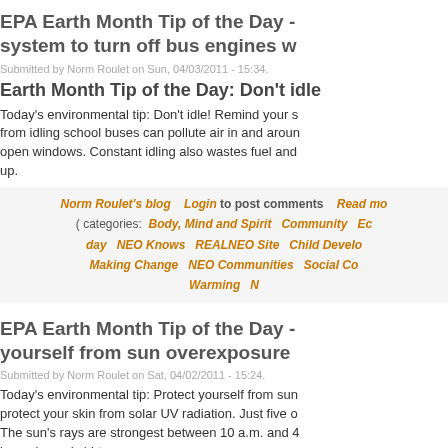EPA Earth Month Tip of the Day - system to turn off bus engines w
Submitted by Norm Roulet on Sun, 04/03/2011 - 15:34.
Earth Month Tip of the Day: Don't idle
Today's environmental tip: Don't idle! Remind your s from idling school buses can pollute air in and aroun open windows. Constant idling also wastes fuel and up.
Norm Roulet's blog   Login to post comments   Read mo ( categories:  Body, Mind and Spirit   Community   Ec day   NEO Knows   REALNEO Site   Child Develo Making Change   NEO Communities   Social Co Warming   N
EPA Earth Month Tip of the Day - yourself from sun overexposure
Submitted by Norm Roulet on Sat, 04/02/2011 - 15:24.
Today's environmental tip: Protect yourself from sun protect your skin from solar UV radiation. Just five o The sun's rays are strongest between 10 a.m. and 4 long-sleeved shirt.